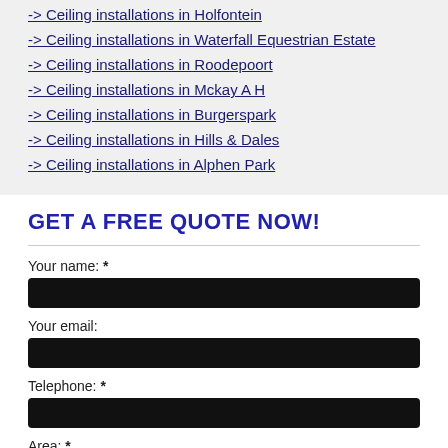-> Ceiling installations in Holfontein
-> Ceiling installations in Waterfall Equestrian Estate
-> Ceiling installations in Roodepoort
-> Ceiling installations in Mckay A H
-> Ceiling installations in Burgerspark
-> Ceiling installations in Hills & Dales
-> Ceiling installations in Alphen Park
GET A FREE QUOTE NOW!
Your name: *
Your email:
Telephone: *
Area: *